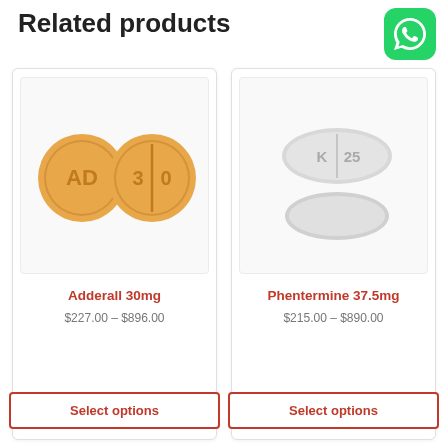Related products
[Figure (photo): WhatsApp icon - green rounded square with white phone handset]
[Figure (photo): Two orange round tablets: one labeled AD, one labeled 30 with score line]
Adderall 30mg
$227.00 – $896.00
Select options
[Figure (photo): Two white oval tablets: one labeled K 25, one plain]
Phentermine 37.5mg
$215.00 – $890.00
Select options